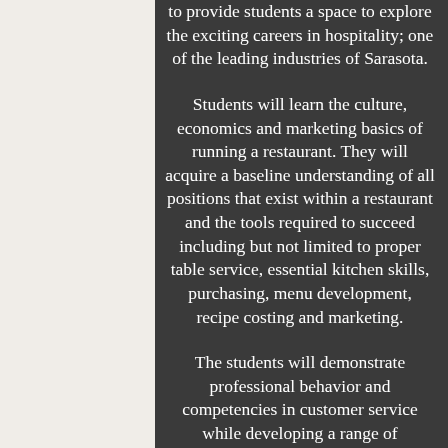to provide students a space to explore the exciting careers in hospitality; one of the leading industries of Sarasota.
Students will learn the culture, economics and marketing basics of running a restaurant. They will acquire a baseline understanding of all positions that exist within a restaurant and the tools required to succeed including but not limited to proper table service, essential kitchen skills, purchasing, menu development, recipe costing and marketing.
The students will demonstrate professional behavior and competencies in customer service while developing a range of leadership skills